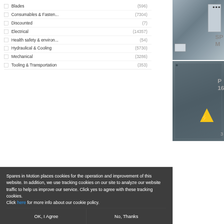Blades (596)
Consumables & Fasten... (7304)
Discounted (7)
Electrical (14357)
Health safety & environ... (54)
Hydraulical & Cooling (5730)
Mechanical (3286)
Tooling & Transportation (353)
[Figure (photo): Industrial electrical cabinet with components]
[Figure (photo): Industrial metal panel with electrical warning sticker]
Spares in Motion places cookies for the operation and improvement of this website. In addition, we use tracking cookies on our site to analyze our website traffic to help us improve our service. Click yes to agree with these tracking cookies.
Click here for more info about our cookie policy.
OK, I Agree
No, Thanks